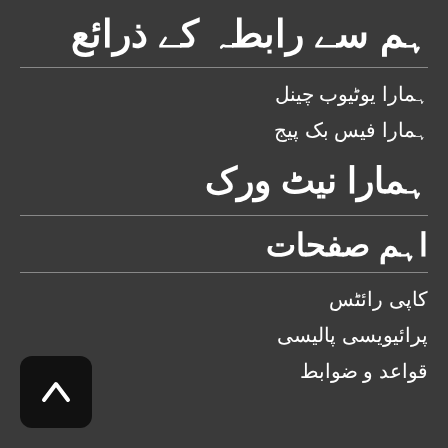ہم سے رابطہ کے ذرائع
ہمارا یوٹیوب چینل
ہمارا فیس بک پیج
ہمارا نیٹ ورک
اہم صفحات
کاپی رائٹس
پرائیویسی پالیسی
قواعد و ضوابط